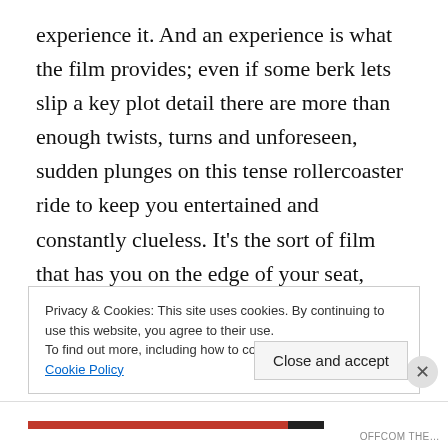experience it. And an experience is what the film provides; even if some berk lets slip a key plot detail there are more than enough twists, turns and unforeseen, sudden plunges on this tense rollercoaster ride to keep you entertained and constantly clueless. It's the sort of film that has you on the edge of your seat, scanning every scene for minute details that might seem insignificant but will later prove to be vital hinges around which the hyper plot will pivot. Just when you reckon you've cracked where things are heading, something totally unexpected will grab you by the
Privacy & Cookies: This site uses cookies. By continuing to use this website, you agree to their use.
To find out more, including how to control cookies, see here: Cookie Policy
Close and accept